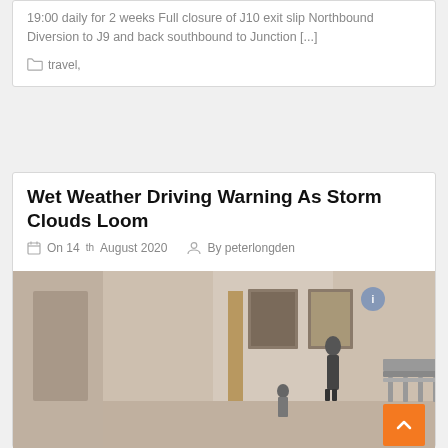19:00 daily for 2 weeks Full closure of J10 exit slip Northbound Diversion to J9 and back southbound to Junction [...]
travel,
Wet Weather Driving Warning As Storm Clouds Loom
On 14th August 2020  By peterlongden
[Figure (photo): Indoor scene showing a waiting area or lobby with metal seating, a standing figure, and framed artwork. Large white text 'ADVICE' overlaid in the center. Orange back-to-top button in bottom right corner.]